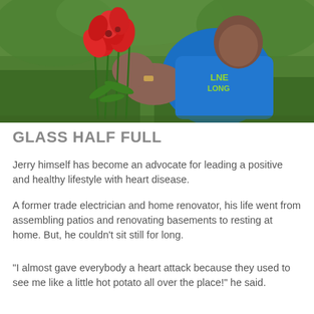[Figure (photo): A man in a blue t-shirt kneeling on green grass, holding red lily flowers, outdoors.]
GLASS HALF FULL
Jerry himself has become an advocate for leading a positive and healthy lifestyle with heart disease.
A former trade electrician and home renovator, his life went from assembling patios and renovating basements to resting at home. But, he couldn't sit still for long.
"I almost gave everybody a heart attack because they used to see me like a little hot potato all over the place!" he said.